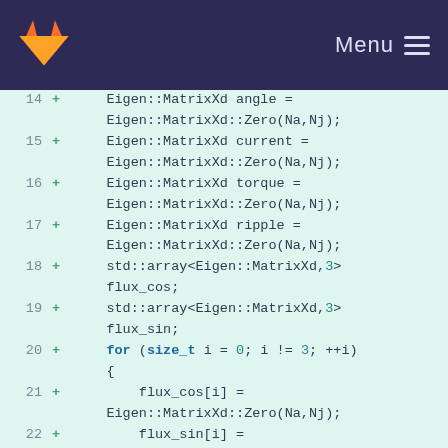[Figure (screenshot): GitLab navigation bar with fox logo and Menu hamburger icon on dark purple background]
Code diff view showing lines 14-24 of C++ source code with Eigen matrix initialization
14 +     Eigen::MatrixXd angle = Eigen::MatrixXd::Zero(Na,Nj);
15 +     Eigen::MatrixXd current = Eigen::MatrixXd::Zero(Na,Nj);
16 +     Eigen::MatrixXd torque = Eigen::MatrixXd::Zero(Na,Nj);
17 +     Eigen::MatrixXd ripple = Eigen::MatrixXd::Zero(Na,Nj);
18 +     std::array<Eigen::MatrixXd,3> flux_cos;
19 +     std::array<Eigen::MatrixXd,3> flux_sin;
20 +     for (size_t i = 0; i != 3; ++i) {
21 +         flux_cos[i] = Eigen::MatrixXd::Zero(Na,Nj);
22 +         flux_sin[i] = Eigen::MatrixXd::Zero(Na,Nj);
23 +     }
24 +